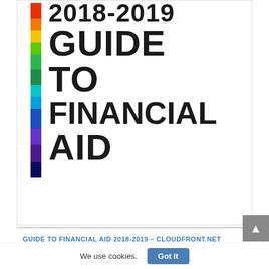[Figure (illustration): Cover page of the 2018-2019 Guide to Financial Aid, featuring a vertical rainbow-colored bar on the left and large bold black text reading '2018-2019 GUIDE TO FINANCIAL AID']
GUIDE TO FINANCIAL AID 2018-2019 - CLOUDFRONT.NET
We use cookies.
Got it